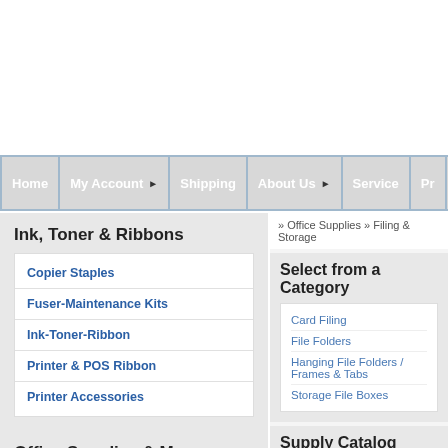Home | My Account | Shipping | About Us | Service | Pr...
» Office Supplies » Filing & Storage
Ink, Toner & Ribbons
Copier Staples
Fuser-Maintenance Kits
Ink-Toner-Ribbon
Printer & POS Ribbon
Printer Accessories
Office Supplies & More
Furniture
Select from a Category
Card Filing
File Folders
Hanging File Folders / Frames & Tabs
Storage File Boxes
Supply Catalog
Display: 1-6   First  Pr...